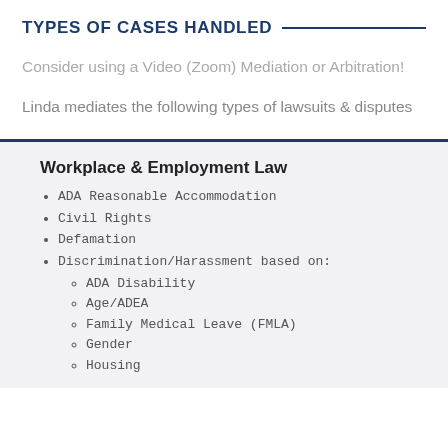TYPES OF CASES HANDLED
Consider using a Video (Zoom) Mediation or Arbitration!
Linda mediates the following types of lawsuits & disputes
Workplace & Employment Law
ADA Reasonable Accommodation
Civil Rights
Defamation
Discrimination/Harassment based on:
ADA Disability
Age/ADEA
Family Medical Leave (FMLA)
Gender
Housing